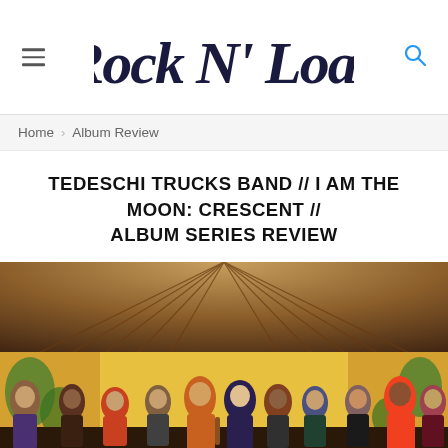Rock N' Load
Home > Album Review
TEDESCHI TRUCKS BAND // I AM THE MOON: CRESCENT // ALBUM SERIES REVIEW
[Figure (photo): Group photo of the Tedeschi Trucks Band standing together inside a colorfully decorated venue with murals on the walls and a wooden ceiling with radiating panels above them.]